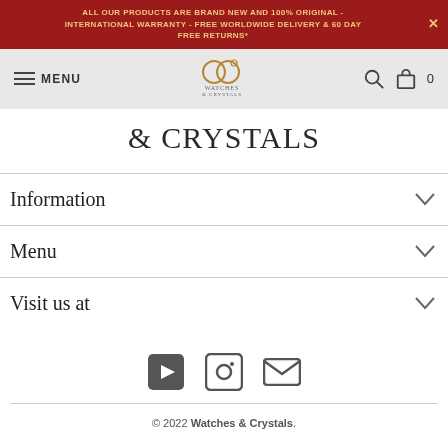ALL OUR PRODUCTS ARE BRAND NEW AND 100% ORIGINAL - INTERNATIONAL WARRANTY - FREE WORLDWIDE DELIVERY & 60 DAY FREE RETURNS*
[Figure (logo): Watches & Crystals logo with interlocking rings icon and text]
& CRYSTALS
Information
Menu
Visit us at
[Figure (other): Social media icons: YouTube, Instagram, Email]
© 2022 Watches & Crystals.